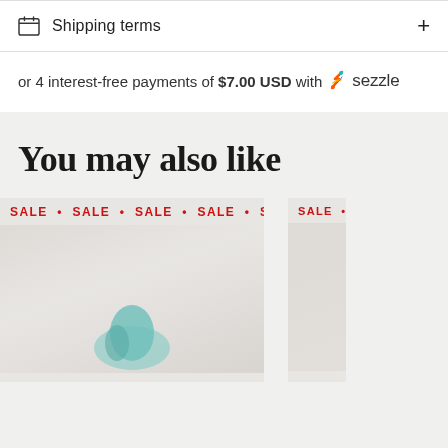Shipping terms +
or 4 interest-free payments of $7.00 USD with Sezzle
You may also like
[Figure (photo): Two product cards with SALE banner ribbons and product images on a gray background]